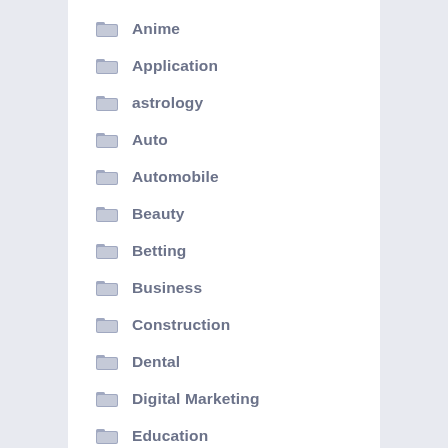Anime
Application
astrology
Auto
Automobile
Beauty
Betting
Business
Construction
Dental
Digital Marketing
Education